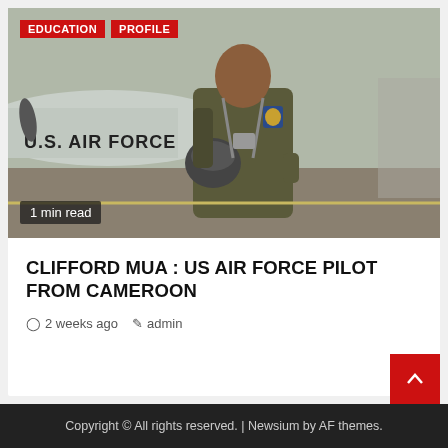[Figure (photo): US Air Force pilot in olive flight suit holding a helmet, standing in front of a U.S. Air Force aircraft on a tarmac. Tags 'EDUCATION' and 'PROFILE' appear top-left in red. '1 min read' badge appears bottom-left.]
CLIFFORD MUA : US AIR FORCE PILOT FROM CAMEROON
2 weeks ago  admin
Copyright © All rights reserved. | Newsium by AF themes.